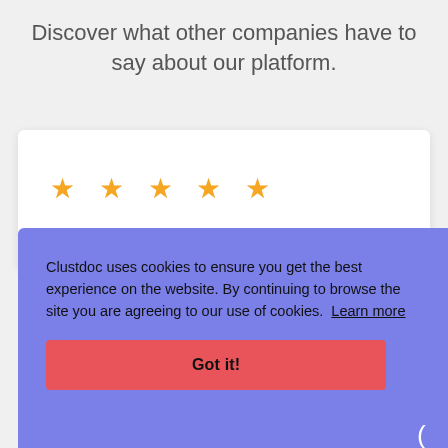Discover what other companies have to say about our platform.
[Figure (other): White card with five gold stars indicating a 5-star rating]
Clustdoc uses cookies to ensure you get the best experience on the website. By continuing to browse the site you are agreeing to our use of cookies. Learn more
Got it!